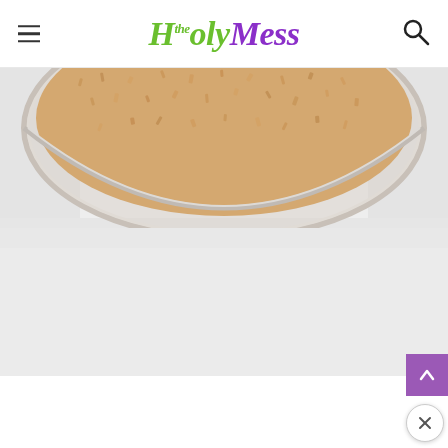the Holy Mess — website header with hamburger menu and search icon
[Figure (photo): Close-up overhead photo of a glass jar containing a granular beige/tan powder or oat-like substance, on a white surface. Only the top portion of the jar is visible, showing the rim and contents.]